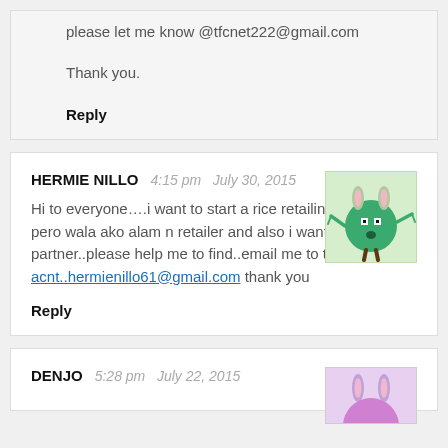please let me know @tfcnet222@gmail.com

Thank you.
Reply
HERMIE NILLO   4:15 pm   July 30, 2015
Hi to everyone….i want to start a rice retailing business pero wala ako alam n retailer and also i want a business partner..please help me to find..email me to this acnt..hermienillo61@gmail.com thank you
Reply
DENJO   5:28 pm   July 22, 2015